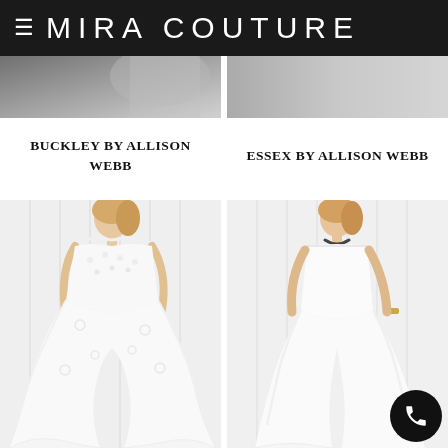MIRA COUTURE
[Figure (photo): Partial view of two wedding dress photos from above (cropped tops), gray background]
BUCKLEY BY ALLISON WEBB
ESSEX BY ALLISON WEBB
[Figure (photo): Off-shoulder lace mermaid wedding dress on a model, white gown with floral lace details]
[Figure (photo): Strapless simple satin/crepe mermaid wedding dress on a model, minimalist white gown]